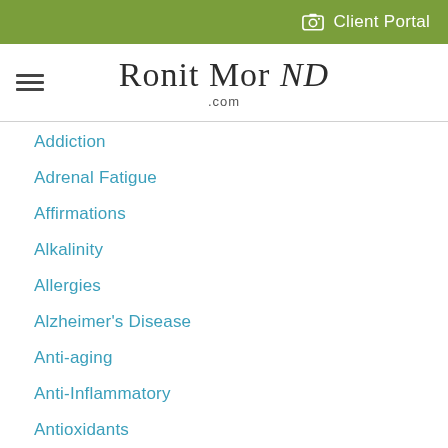Client Portal
Ronit Mor ND .com
Addiction
Adrenal Fatigue
Affirmations
Alkalinity
Allergies
Alzheimer's Disease
Anti-aging
Anti-Inflammatory
Antioxidants
Anti-viral
Anxiety